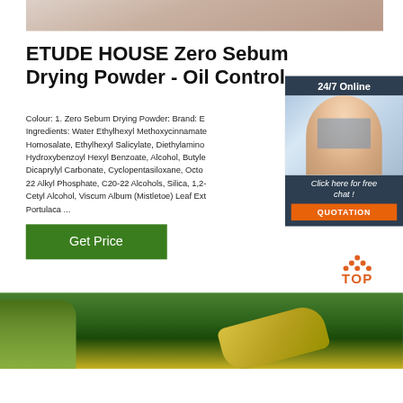[Figure (photo): Top portion of a photo, appears to be a person's body/skin, cropped]
ETUDE HOUSE Zero Sebum Drying Powder - Oil Control
Colour: 1. Zero Sebum Drying Powder: Brand: E... Ingredients: Water Ethylhexyl Methoxycinnamate Homosalate, Ethylhexyl Salicylate, Diethylamino Hydroxybenzoyl Hexyl Benzoate, Alcohol, Butyle Dicaprylyl Carbonate, Cyclopentasiloxane, Octo 22 Alkyl Phosphate, C20-22 Alcohols, Silica, 1,2- Cetyl Alcohol, Viscum Album (Mistletoe) Leaf Ext Portulaca ...
[Figure (photo): Chat widget with woman wearing headset, customer service representative, 24/7 Online label]
24/7 Online
Click here for free chat !
QUOTATION
[Figure (other): Green Get Price button]
[Figure (logo): TOP logo with orange dots forming a house/arrow shape above the word TOP]
[Figure (photo): Bottom photo showing green plant/leaves and yellow object on dark background]